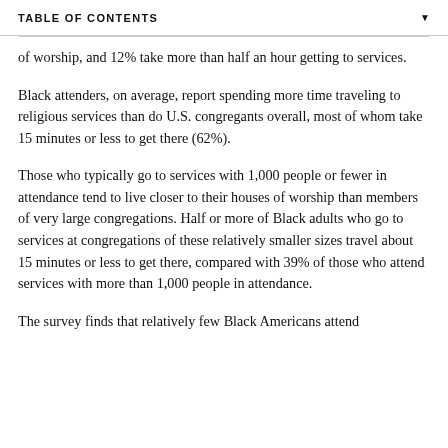TABLE OF CONTENTS
of worship, and 12% take more than half an hour getting to services.
Black attenders, on average, report spending more time traveling to religious services than do U.S. congregants overall, most of whom take 15 minutes or less to get there (62%).
Those who typically go to services with 1,000 people or fewer in attendance tend to live closer to their houses of worship than members of very large congregations. Half or more of Black adults who go to services at congregations of these relatively smaller sizes travel about 15 minutes or less to get there, compared with 39% of those who attend services with more than 1,000 people in attendance.
The survey finds that relatively few Black Americans attend